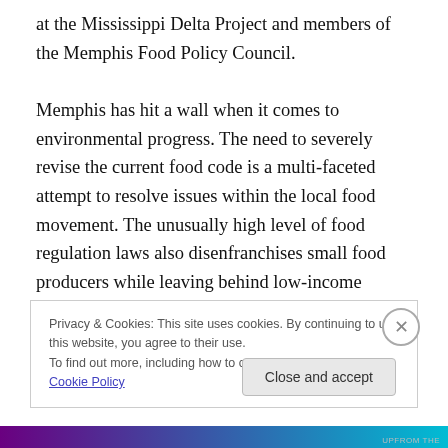at the Mississippi Delta Project and members of the Memphis Food Policy Council.
Memphis has hit a wall when it comes to environmental progress. The need to severely revise the current food code is a multi-faceted attempt to resolve issues within the local food movement. The unusually high level of food regulation laws also disenfranchises small food producers while leaving behind low-income communities who do not have any access to nutritious foods. The Memphis Food Policy Council was constructed from stake-holders in the
Privacy & Cookies: This site uses cookies. By continuing to use this website, you agree to their use.
To find out more, including how to control cookies, see here: Cookie Policy
Close and accept